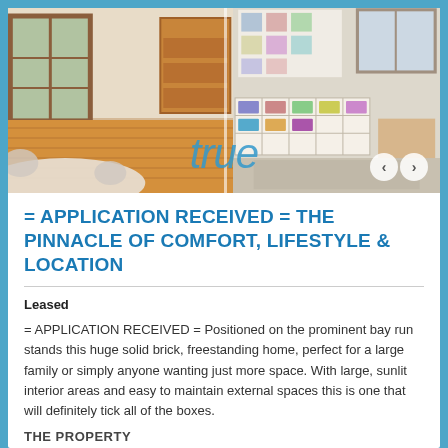[Figure (photo): Interior property photos showing a dining/living room with wooden floors and glass doors on the left, and a children's play/study room with shelving on the right. The word 'true' watermark appears in blue italic text. Navigation arrows are visible bottom right.]
= APPLICATION RECEIVED = THE PINNACLE OF COMFORT, LIFESTYLE & LOCATION
Leased
= APPLICATION RECEIVED = Positioned on the prominent bay run stands this huge solid brick, freestanding home, perfect for a large family or simply anyone wanting just more space. With large, sunlit interior areas and easy to maintain external spaces this is one that will definitely tick all of the boxes.
THE PROPERTY